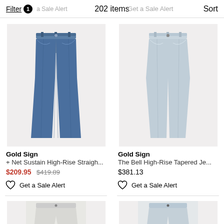Filter 1  Get a Sale Alert  202 items  Get a Sale Alert  Sort
[Figure (photo): Dark blue straight-leg jeans displayed on a light grey background]
Gold Sign
+ Net Sustain High-Rise Straigh...
$209.95 $419.89
Get a Sale Alert
[Figure (photo): Light wash high-rise tapered jeans displayed on a light grey background]
Gold Sign
The Bell High-Rise Tapered Je...
$381.13
Get a Sale Alert
[Figure (photo): Partial view of white/light jeans from bottom of page]
[Figure (photo): Partial view of light wash jeans from bottom of page]